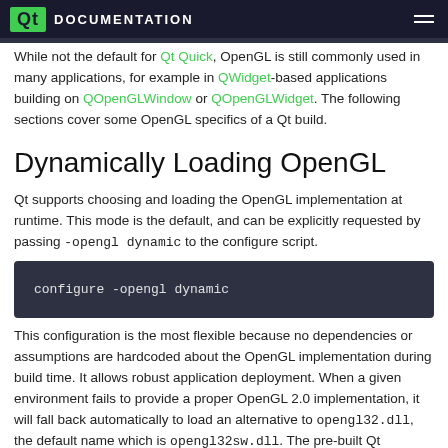Qt DOCUMENTATION
While not the default for Qt Quick, OpenGL is still commonly used in many applications, for example in QWidget-based applications building on QOpenGLWindow or QOpenGLWidget. The following sections cover some OpenGL specifics of a Qt build.
Dynamically Loading OpenGL
Qt supports choosing and loading the OpenGL implementation at runtime. This mode is the default, and can be explicitly requested by passing -opengl dynamic to the configure script.
configure -opengl dynamic
This configuration is the most flexible because no dependencies or assumptions are hardcoded about the OpenGL implementation during build time. It allows robust application deployment. When a given environment fails to provide a proper OpenGL 2.0 implementation, it will fall back automatically to load an alternative to opengl32.dll, the default name which is opengl32sw.dll. The pre-built Qt packages ship a build of M...